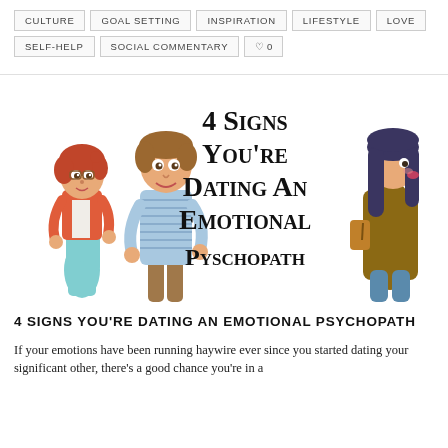CULTURE  GOAL SETTING  INSPIRATION  LIFESTYLE  LOVE  SELF-HELP  SOCIAL COMMENTARY  ♡ 0
[Figure (illustration): Cartoon illustration of three characters: a short red-haired woman in a red jacket and teal skirt, a tall man in a striped shirt and brown pants, and a woman with long dark hair wearing a brown jacket walking away. Text overlay reads '4 Signs You're Dating An Emotional Pyschopath']
4 SIGNS YOU'RE DATING AN EMOTIONAL PSYCHOPATH
If your emotions have been running haywire ever since you started dating your significant other, there's a good chance you're in a